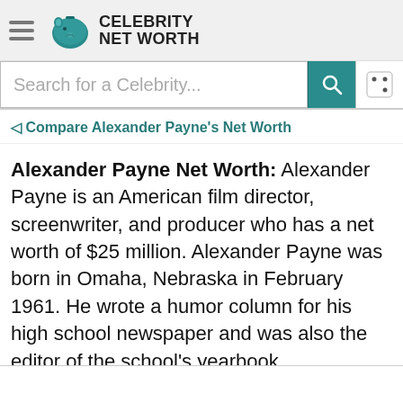Celebrity Net Worth
Search for a Celebrity...
Compare Alexander Payne's Net Worth
Alexander Payne Net Worth: Alexander Payne is an American film director, screenwriter, and producer who has a net worth of $25 million. Alexander Payne was born in Omaha, Nebraska in February 1961. He wrote a humor column for his high school newspaper and was also the editor of the school's yearbook.